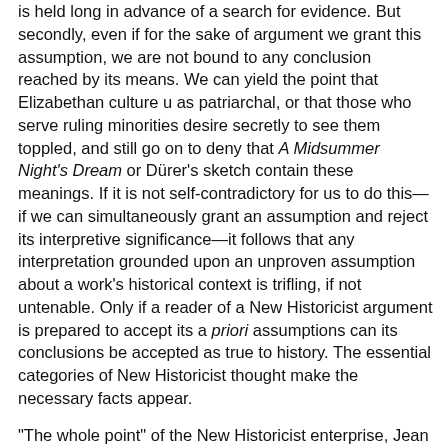is held long in advance of a search for evidence. But secondly, even if for the sake of argument we grant this assumption, we are not bound to any conclusion reached by its means. We can yield the point that Elizabethan culture u as patriarchal, or that those who serve ruling minorities desire secretly to see them toppled, and still go on to deny that A Midsummer Night's Dream or Dürer's sketch contain these meanings. If it is not self-contradictory for us to do this—if we can simultaneously grant an assumption and reject its interpretive significance—it follows that any interpretation grounded upon an unproven assumption about a work's historical context is trifling, if not untenable. Only if a reader of a New Historicist argument is prepared to accept its a priori assumptions can its conclusions be accepted as true to history. The essential categories of New Historicist thought make the necessary facts appear.
"The whole point" of the New Historicist enterprise, Jean E. Howard says, "is to grasp the terms of the discourse which made it possible [for contemporaries] to see the 'facts' [of their own time] in a particular way—indeed, made it possible to see certain phenomena as facts at all."9 At first glance, this might seem...